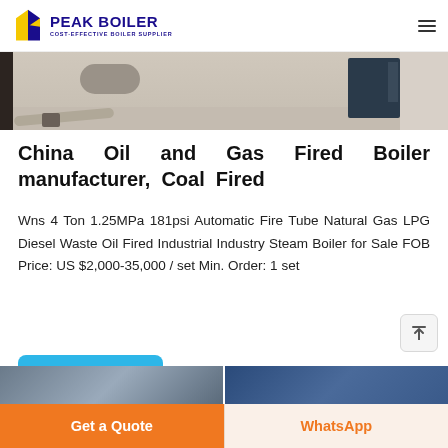PEAK BOILER — COST-EFFECTIVE BOILER SUPPLIER
[Figure (photo): Industrial boiler unit in a factory/warehouse setting, showing a large blue-grey machine with pipes on a concrete floor.]
China Oil and Gas Fired Boiler manufacturer, Coal Fired
Wns 4 Ton 1.25MPa 181psi Automatic Fire Tube Natural Gas LPG Diesel Waste Oil Fired Industrial Industry Steam Boiler for Sale
FOB Price: US $2,000-35,000 / set Min. Order: 1 set
[Figure (photo): Two smaller thumbnail photos of boiler equipment at the bottom of the page.]
Get a Quote | WhatsApp